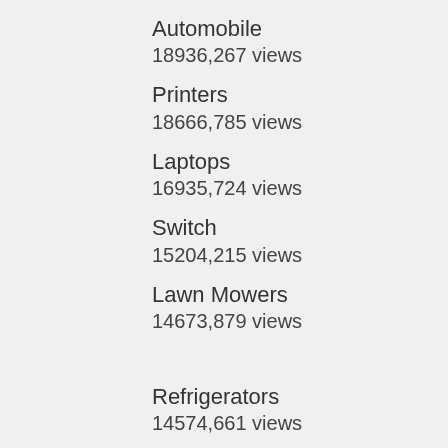Automobile
18936,267 views
Printers
18666,785 views
Laptops
16935,724 views
Switch
15204,215 views
Lawn Mowers
14673,879 views
Refrigerators
14574,661 views
Network Router
12686,739 views
Flat Panel TV
12023,283 views
Digital Camera
11240,707 views